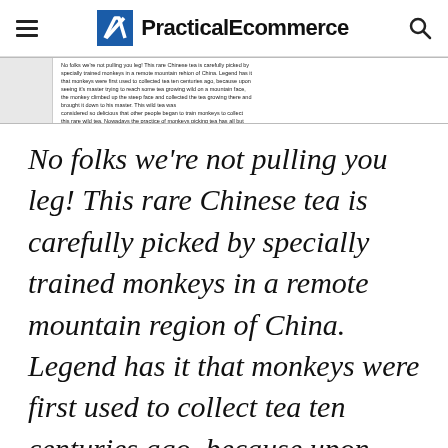PracticalEcommerce
[Figure (screenshot): Thumbnail of article text in small font showing the same monkey tea picking paragraph]
No folks we're not pulling you leg! This rare Chinese tea is carefully picked by specially trained monkeys in a remote mountain region of China. Legend has it that monkeys were first used to collect tea ten centuries ago, because upon seeing it's master trying to reach some tea growing wild on a mountain face, the